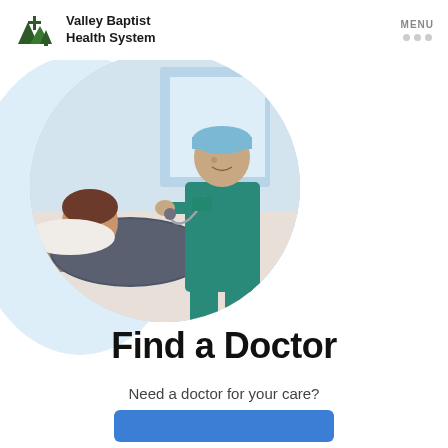Valley Baptist Health System | MENU
[Figure (photo): Doctor in teal scrubs and surgical cap attending to a female patient lying in a hospital bed, both smiling, inside a circular cropped photo with a light blue background blob]
Find a Doctor
Need a doctor for your care?